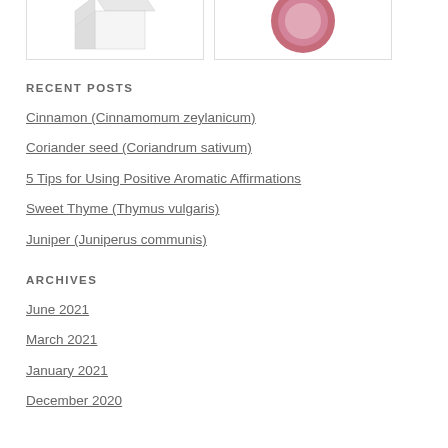[Figure (photo): Two product images side by side: a white box/package on the left and a pink circular plate/disc on the right, each in a bordered frame]
RECENT POSTS
Cinnamon (Cinnamomum zeylanicum)
Coriander seed (Coriandrum sativum)
5 Tips for Using Positive Aromatic Affirmations
Sweet Thyme (Thymus vulgaris)
Juniper (Juniperus communis)
ARCHIVES
June 2021
March 2021
January 2021
December 2020